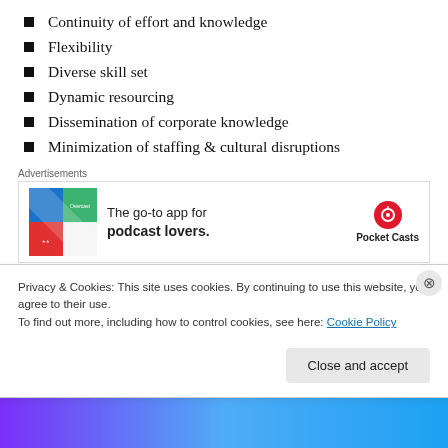Continuity of effort and knowledge
Flexibility
Diverse skill set
Dynamic resourcing
Dissemination of corporate knowledge
Minimization of staffing & cultural disruptions
[Figure (other): Advertisement banner for Pocket Casts app: 'The go-to app for podcast lovers.' with logo and colorful app icon image]
Classic engineering structures solve the first three items.
Privacy & Cookies: This site uses cookies. By continuing to use this website, you agree to their use.
To find out more, including how to control cookies, see here: Cookie Policy